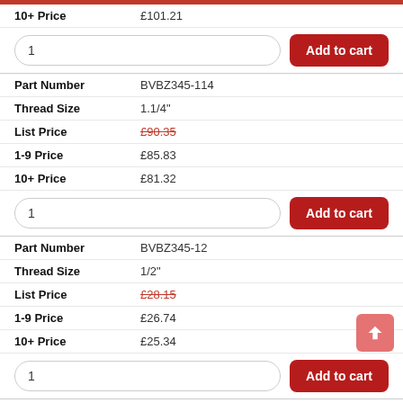| Field | Value |
| --- | --- |
| 10+ Price | £101.21 |
| [Add to cart row] | 1 | Add to cart |
| Part Number | BVBZ345-114 |
| Thread Size | 1.1/4" |
| List Price | £90.35 |
| 1-9 Price | £85.83 |
| 10+ Price | £81.32 |
| [Add to cart row] | 1 | Add to cart |
| Part Number | BVBZ345-12 |
| Thread Size | 1/2" |
| List Price | £28.15 |
| 1-9 Price | £26.74 |
| 10+ Price | £25.34 |
| [Add to cart row] | 1 | Add to cart |
| Part Number | BVBZ345-2 |